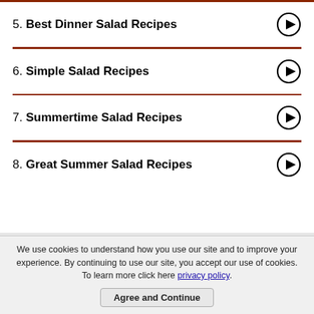5. Best Dinner Salad Recipes
6. Simple Salad Recipes
7. Summertime Salad Recipes
8. Great Summer Salad Recipes
We use cookies to understand how you use our site and to improve your experience. By continuing to use our site, you accept our use of cookies. To learn more click here privacy policy.
Agree and Continue